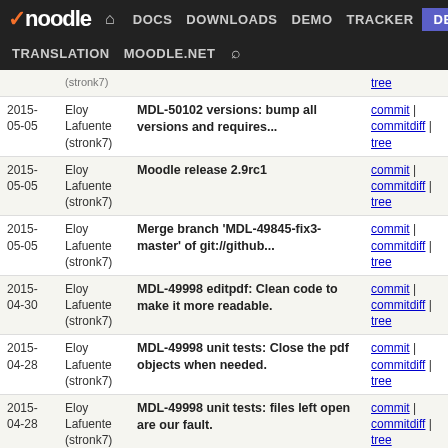Moodle | DOCS DOWNLOADS DEMO TRACKER DEV | TRANSLATION MOODLE.NET search
| Date | Author | Message | Links |
| --- | --- | --- | --- |
| 2015-05-05 | Eloy Lafuente (stronk7) | MDL-50102 versions: bump all versions and requires... | commit | commitdiff | tree |
| 2015-05-05 | Eloy Lafuente (stronk7) | Moodle release 2.9rc1 | commit | commitdiff | tree |
| 2015-05-05 | Eloy Lafuente (stronk7) | Merge branch 'MDL-49845-fix3-master' of git://github... | commit | commitdiff | tree |
| 2015-04-30 | Eloy Lafuente (stronk7) | MDL-49998 editpdf: Clean code to make it more readable. | commit | commitdiff | tree |
| 2015-04-28 | Eloy Lafuente (stronk7) | MDL-49998 unit tests: Close the pdf objects when needed. | commit | commitdiff | tree |
| 2015-04-28 | Eloy Lafuente (stronk7) | MDL-49998 unit tests: files left open are our fault. | commit | commitdiff | tree |
| 2015-04-08 | Eloy Lafuente (stronk7) | MDL-49519 Google API: use autoload everywhere | commit | commitdiff | tree |
| 2015-04-08 | Eloy Lafuente | MDL-49519 Google API: remove old stuff | commit | commitdiff |